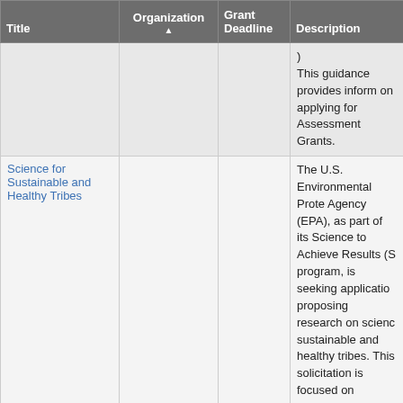| Title | Organization ▲ | Grant Deadline | Description |
| --- | --- | --- | --- |
|  |  |  | ) This guidance provides inform on applying for Assessment Grants. |
| Science for Sustainable and Healthy Tribes | EPA |  | The U.S. Environmental Prote Agency (EPA), as part of its Science to Achieve Results (S program, is seeking applicatio proposing research on scienc sustainable and healthy tribes This solicitation is focused or research to develop sustainab solutions to environmental problems that affect tribes. Th objectives of the awards to be made under this solicitation a improve understanding of: 1) health impacts of climate cha on tribal populations; and 2) t health impacts of indoor air pollution exposures that deriv from or are directly affecting |